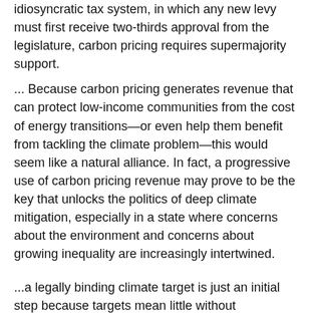idiosyncratic tax system, in which any new levy must first receive two-thirds approval from the legislature, carbon pricing requires supermajority support.
... Because carbon pricing generates revenue that can protect low-income communities from the cost of energy transitions—or even help them benefit from tackling the climate problem—this would seem like a natural alliance. In fact, a progressive use of carbon pricing revenue may prove to be the key that unlocks the politics of deep climate mitigation, especially in a state where concerns about the environment and concerns about growing inequality are increasingly intertwined.
...a legally binding climate target is just an initial step because targets mean little without implementation strategies. Right now, the only legally viable strategy is to rely exclusively on traditional regulatory approaches. We are skeptical of the state's ability to deliver using solely this approach, and pessimistic about the